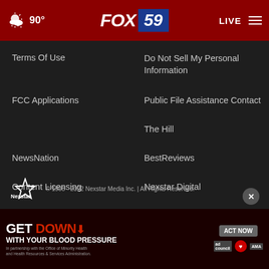[Figure (screenshot): FOX 59 website header with dark red background, weather icon showing cloud with 90 degrees, FOX 59 logo in center, LIVE text and hamburger menu on right]
Terms Of Use
Do Not Sell My Personal Information
FCC Applications
Public File Assistance Contact
The Hill
NewsNation
BestReviews
Content Licensing
Nexstar Digital
© 1998 - 2022 Nexstar Media Inc. | All Rights Reserved.
[Figure (screenshot): Advertisement banner: GET DOWN WITH YOUR BLOOD PRESSURE with ACT NOW button, ad council, heart, and AMA logos]